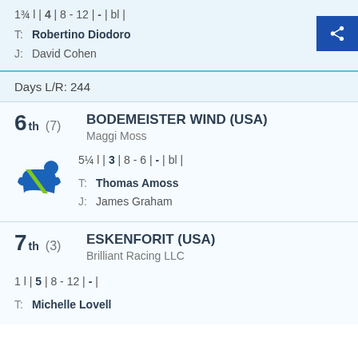1¾ l | 4 | 8 - 12 | - | bl |
T: Robertino Diodoro
J:  David Cohen
Days L/R: 244
6th (7)  BODEMEISTER WIND (USA)
Maggi Moss
5¼ l | 3 | 8 - 6 | - | bl |
T: Thomas Amoss
J:  James Graham
7th (3)  ESKENFORIT (USA)
Brilliant Racing LLC
1 l | 5 | 8 - 12 | - |
T: Michelle Lovell